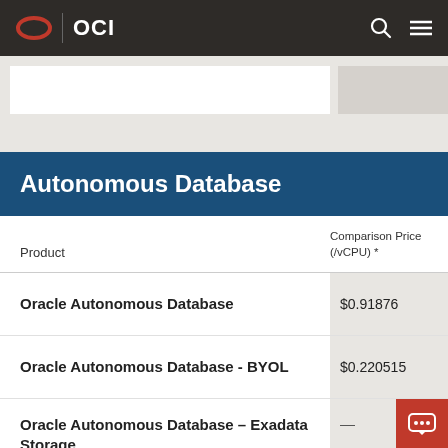OCI
Autonomous Database
| Product | Comparison Price (/vCPU) * |
| --- | --- |
| Oracle Autonomous Database | $0.91876 |
| Oracle Autonomous Database - BYOL | $0.220515 |
| Oracle Autonomous Database – Exadata Storage | — |